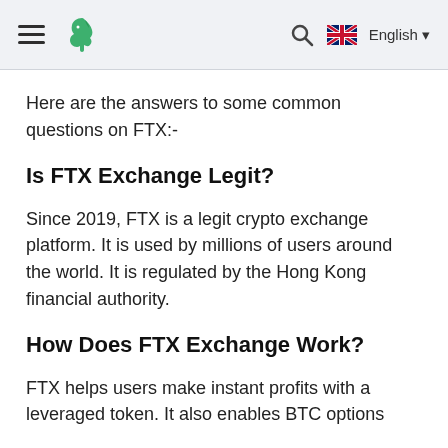≡  [horse logo]  [search icon]  🇬🇧 English ▼
Here are the answers to some common questions on FTX:-
Is FTX Exchange Legit?
Since 2019, FTX is a legit crypto exchange platform. It is used by millions of users around the world. It is regulated by the Hong Kong financial authority.
How Does FTX Exchange Work?
FTX helps users make instant profits with a leveraged token. It also enables BTC options